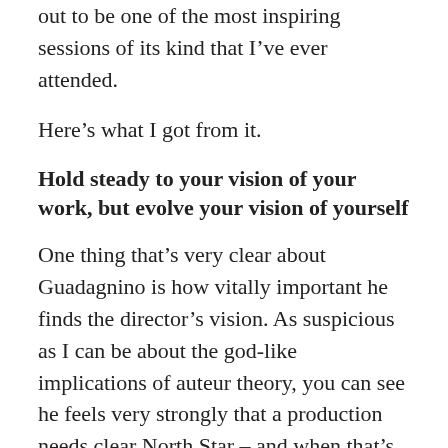out to be one of the most inspiring sessions of its kind that I've ever attended.
Here's what I got from it.
Hold steady to your vision of your work, but evolve your vision of yourself
One thing that's very clear about Guadagnino is how vitally important he finds the director's vision. As suspicious as I can be about the god-like implications of auteur theory, you can see he feels very strongly that a production needs clear North Star – and when that's lost the whole suffers. He spoke eloquently and with measured regret about the project he loved that he believed had its edges blunted and soul gutted by studio interference (Melissa P.), and how he promised